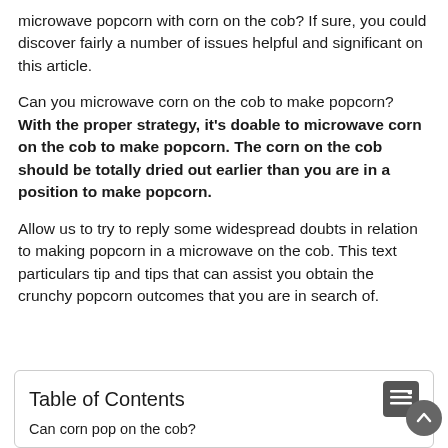microwave popcorn with corn on the cob? If sure, you could discover fairly a number of issues helpful and significant on this article.
Can you microwave corn on the cob to make popcorn? With the proper strategy, it's doable to microwave corn on the cob to make popcorn. The corn on the cob should be totally dried out earlier than you are in a position to make popcorn.
Allow us to try to reply some widespread doubts in relation to making popcorn in a microwave on the cob. This text particulars tip and tips that can assist you obtain the crunchy popcorn outcomes that you are in search of.
Table of Contents
Can corn pop on the cob?